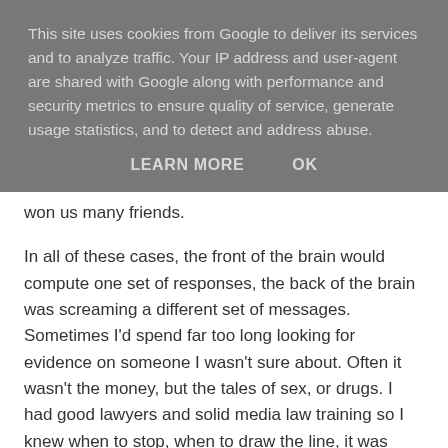This site uses cookies from Google to deliver its services and to analyze traffic. Your IP address and user-agent are shared with Google along with performance and security metrics to ensure quality of service, generate usage statistics, and to detect and address abuse.
LEARN MORE   OK
won us many friends.
In all of these cases, the front of the brain would compute one set of responses, the back of the brain was screaming a different set of messages. Sometimes I'd spend far too long looking for evidence on someone I wasn't sure about. Often it wasn't the money, but the tales of sex, or drugs. I had good lawyers and solid media law training so I knew when to stop, when to draw the line, it was beyond me to expose Manchester's Harvey Weinstein, were we to have found one. In those instances where you know something isn't right, you just had to exercise the one remaining option left, ignore them. Let someone else do their propaganda for them.